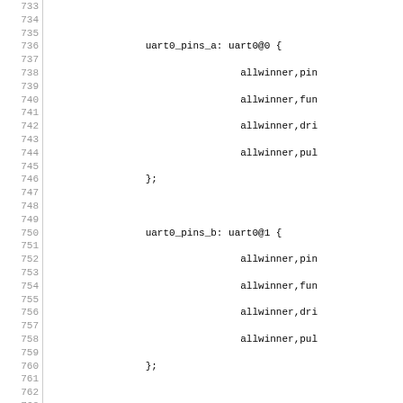Source code listing showing device tree pin configuration entries for uart0_pins_a, uart0_pins_b, uart1_pins_a, i2c0_pins_a, and i2c1_pins_a with allwinner properties, lines 733-763